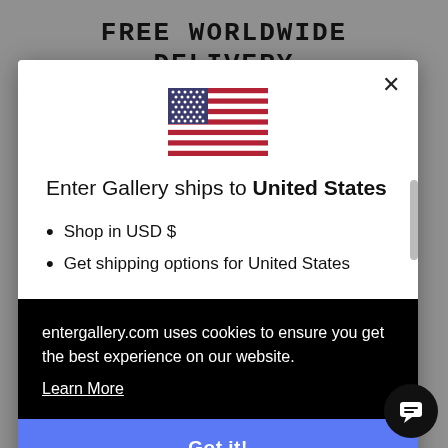FREE WORLDWIDE DELIVERY
[Figure (illustration): US flag emoji/icon centered in modal]
Enter Gallery ships to United States
Shop in USD $
Get shipping options for United States
entergallery.com uses cookies to ensure you get the best experience on our website.
Learn More
Got it!